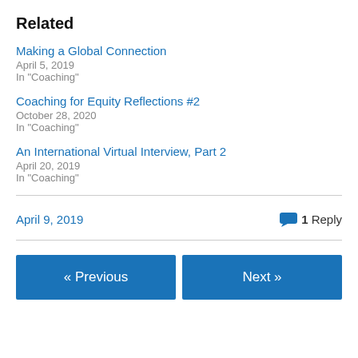Related
Making a Global Connection
April 5, 2019
In "Coaching"
Coaching for Equity Reflections #2
October 28, 2020
In "Coaching"
An International Virtual Interview, Part 2
April 20, 2019
In "Coaching"
April 9, 2019 | 1 Reply
« Previous | Next »